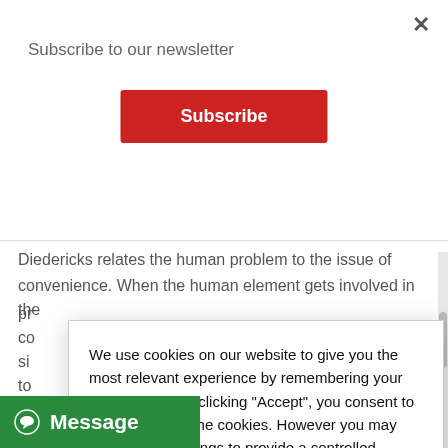[Figure (screenshot): Newsletter subscription modal with 'Subscribe to our newsletter' heading, a red Subscribe button, and a close (×) button in the top right corner.]
security.
Diedericks relates the human problem to the issue of convenience. When the human element gets involved in the pr
co
si
to
se
co
[Figure (screenshot): Cookie consent dialog with text: 'We use cookies on our website to give you the most relevant experience by remembering your preferences. By clicking "Accept", you consent to the use of ALL the cookies. However you may visit Cookie Settings to provide a controlled consent.' Two buttons: 'CHANGE SETTINGS' (pink/red) and 'ACCEPT' (dark red).]
Mangold says you need to draw the line somewhere and force compliance if you don't want to expose
[Figure (screenshot): Green 'Message' chat widget button in bottom left corner with a chat bubble icon.]